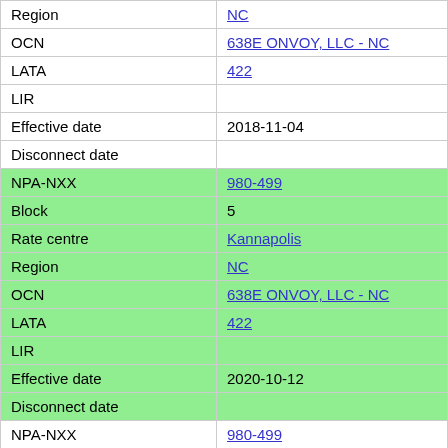| Field | Value |
| --- | --- |
| Region | NC |
| OCN | 638E ONVOY, LLC - NC |
| LATA | 422 |
| LIR |  |
| Effective date | 2018-11-04 |
| Disconnect date |  |
| NPA-NXX | 980-499 |
| Block | 5 |
| Rate centre | Kannapolis |
| Region | NC |
| OCN | 638E ONVOY, LLC - NC |
| LATA | 422 |
| LIR |  |
| Effective date | 2020-10-12 |
| Disconnect date |  |
| NPA-NXX | 980-499 |
| Block | 7 |
| Rate centre | Kannapolis |
| Region | NC |
| OCN | 638E ONVOY, LLC - NC |
| LATA | 422 |